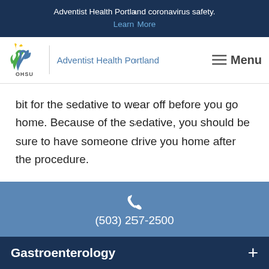Adventist Health Portland coronavirus safety. Learn More
[Figure (logo): Adventist Health Portland / OHSU logo with flame and cross icon, site name 'Adventist Health Portland', and hamburger Menu button]
bit for the sedative to wear off before you go home. Because of the sedative, you should be sure to have someone drive you home after the procedure.
(503) 257-2500
Gastroenterology +